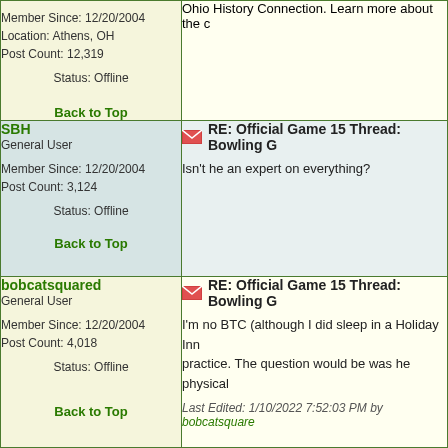Member Since: 12/20/2004
Location: Athens, OH
Post Count: 12,319
Status: Offline
Back to Top
Ohio History Connection. Learn more about the c
SBH
General User
Member Since: 12/20/2004
Post Count: 3,124
Status: Offline
Back to Top
RE: Official Game 15 Thread: Bowling G
Isn't he an expert on everything?
bobcatsquared
General User
Member Since: 12/20/2004
Post Count: 4,018
Status: Offline
Back to Top
RE: Official Game 15 Thread: Bowling G
I'm no BTC (although I did sleep in a Holiday Inn practice. The question would be was he physical
Last Edited: 1/10/2022 7:52:03 PM by bobcatsquare
Eagle66
General User
RE: Official Game 15 Thread: Bowling G